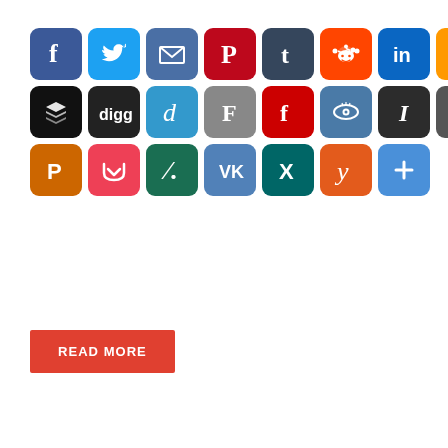[Figure (infographic): Grid of social media sharing icons: Facebook, Twitter, Email, Pinterest, Tumblr, Reddit, LinkedIn, Amazon, ShareThis (row 1); Buffer, Digg, Delicious, Fancy, Flipboard, Instapaper, Instapaper, Feedburner, MySpace (row 2); PrintFriendly, Pocket, Slashdot, VK, XING, Yummly, More (row 3)]
READ MORE